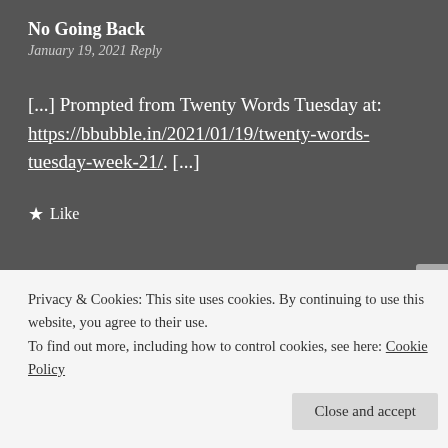No Going Back
January 19, 2021 Reply
[...] Prompted from Twenty Words Tuesday at: https://bbubble.in/2021/01/19/twenty-words-tuesday-week-21/. [...]
★ Like
LEAVE A REPLY
Privacy & Cookies: This site uses cookies. By continuing to use this website, you agree to their use.
To find out more, including how to control cookies, see here: Cookie Policy
Close and accept